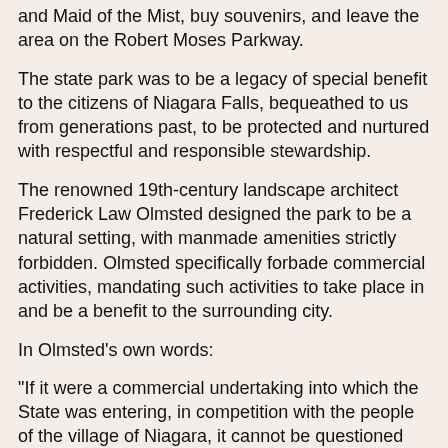and Maid of the Mist, buy souvenirs, and leave the area on the Robert Moses Parkway.
The state park was to be a legacy of special benefit to the citizens of Niagara Falls, bequeathed to us from generations past, to be protected and nurtured with respectful and responsible stewardship.
The renowned 19th-century landscape architect Frederick Law Olmsted designed the park to be a natural setting, with manmade amenities strictly forbidden. Olmsted specifically forbade commercial activities, mandating such activities to take place in and be a benefit to the surrounding city.
In Olmsted's own words:
"If it were a commercial undertaking into which the State was entering, in competition with the people of the village of Niagara, it cannot be questioned that (it) could be made profitable. But ... it is to be considered that no (structure) can be built upon the island that will not in some degree dispossess, obscure and disturb elements of its distinctive natural scenery."
Invoking the name of Olmsted shouldn't be the exclusive imperative of "tree huggers." If the Olmsted plan for the park